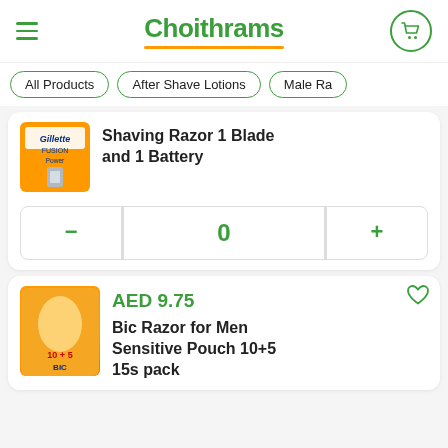Choithrams
All Products
After Shave Lotions
Male Ra…
Shaving Razor 1 Blade and 1 Battery
0
AED 9.75
Bic Razor for Men Sensitive Pouch 10+5 15s pack